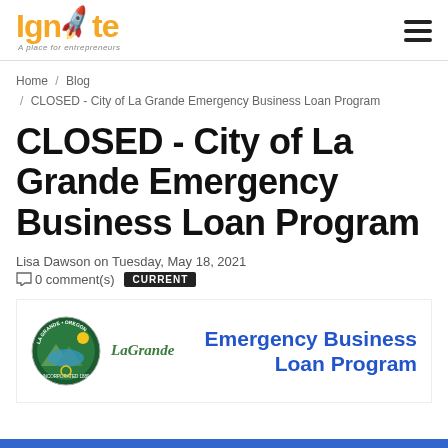[Figure (logo): Ignite – A place for entrepreneurs logo with orange rocket and text]
Home / Blog / CLOSED - City of La Grande Emergency Business Loan Program
CLOSED - City of La Grande Emergency Business Loan Program
Lisa Dawson on Tuesday, May 18, 2021
0 comment(s)  CURRENT
[Figure (logo): City of La Grande Oregon seal and logo with Emergency Business Loan Program banner text in blue]